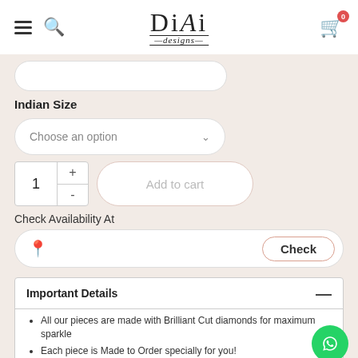[Figure (logo): DiAi designs logo in serif font with decorative underline]
Indian Size
Choose an option (dropdown)
1 + - Add to cart
Check Availability At
Check (button)
Important Details
All our pieces are made with Brilliant Cut diamonds for maximum sparkle
Each piece is Made to Order specially for you!